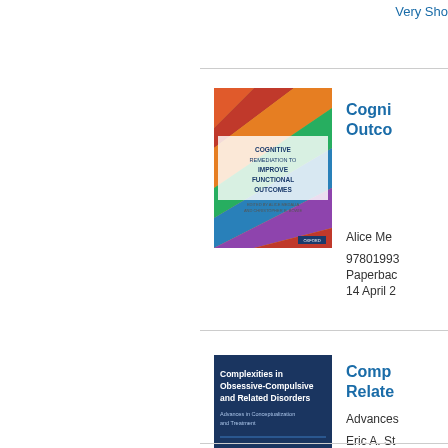Very Sho...
[Figure (photo): Book cover: Cognitive Remediation to Improve Functional Outcomes, colorful geometric design]
Cogni... Outco...
Alice Me...
97801993...
Paperba...
14 April 2...
[Figure (photo): Book cover: Complexities in Obsessive-Compulsive and Related Disorders, dark blue]
Comp... Relate...
Advances...
Eric A. St... Dean Mc...
97801906...
Hardback...
09 Nover...